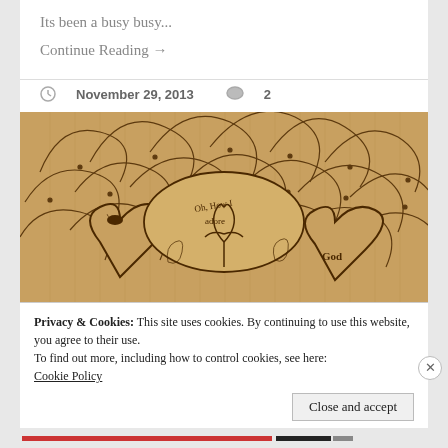Its been a busy busy...
Continue Reading →
November 29, 2013  💬 2
[Figure (illustration): Hand-drawn ink illustration on aged paper showing decorative cloud-like swirls and hearts with text including 'Oh, How I adore' and 'God', and a tree motif in the center]
Privacy & Cookies: This site uses cookies. By continuing to use this website, you agree to their use.
To find out more, including how to control cookies, see here: Cookie Policy
Close and accept